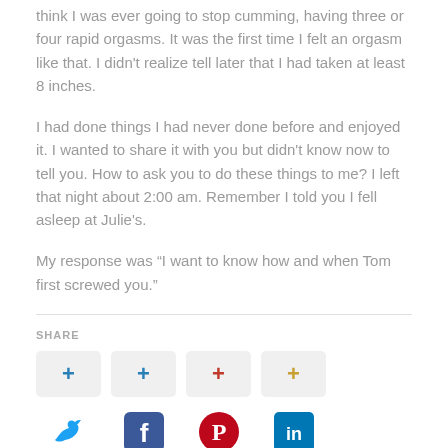think I was ever going to stop cumming, having three or four rapid orgasms. It was the first time I felt an orgasm like that. I didn't realize tell later that I had taken at least 8 inches.
I had done things I had never done before and enjoyed it. I wanted to share it with you but didn't know now to tell you. How to ask you to do these things to me? I left that night about 2:00 am. Remember I told you I fell asleep at Julie's.
My response was “I want to know how and when Tom first screwed you.”
SHARE